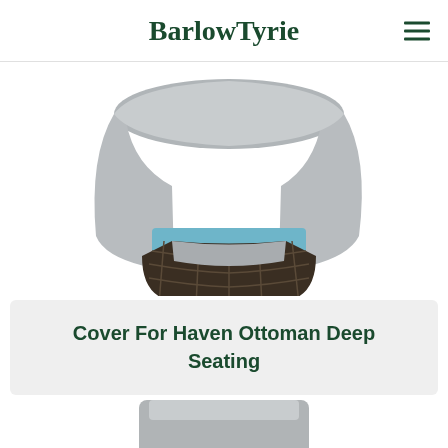BarlowTyrie
[Figure (photo): Wicker ottoman with blue seat cushion partially covered by a grey protective cover]
Cover For Haven Ottoman Deep Seating
[Figure (photo): Grey cover partially visible at bottom of page]